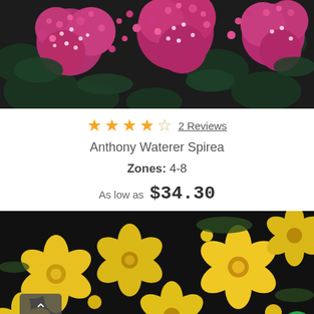[Figure (photo): Close-up photo of pink Anthony Waterer Spirea flowers with green leaves on dark background]
★★★★☆ 2 Reviews
Anthony Waterer Spirea
Zones: 4-8
As low as $34.30
[Figure (photo): Close-up photo of bright yellow flowers on dark background]